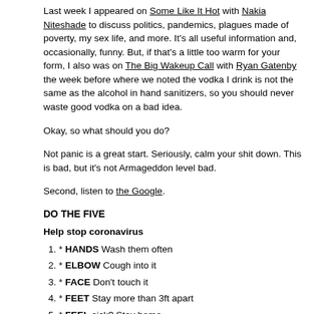Last week I appeared on Some Like It Hot with Nakia Niteshade to discuss politics, pandemics, plagues made of poverty, my sex life, and more. It's all useful information and, occasionally, funny. But, if that's a little too warm for your form, I also was on The Big Wakeup Call with Ryan Gatenby the week before where we noted the vodka I drink is not the same as the alcohol in hand sanitizers, so you should never waste good vodka on a bad idea.
Okay, so what should you do?
Not panic is a great start. Seriously, calm your shit down. This is bad, but it's not Armageddon level bad.
Second, listen to the Google.
DO THE FIVE
Help stop coronavirus
* HANDS Wash them often
* ELBOW Cough into it
* FACE Don't touch it
* FEET Stay more than 3ft apart
* FEEL sick? Stay home